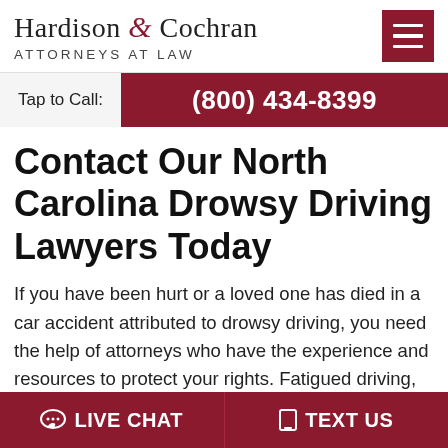[Figure (logo): Hardison & Cochran Attorneys at Law logo with hamburger menu icon]
Tap to Call: (800) 434-8399
Contact Our North Carolina Drowsy Driving Lawyers Today
If you have been hurt or a loved one has died in a car accident attributed to drowsy driving, you need the help of attorneys who have the experience and resources to protect your rights. Fatigued driving,
LIVE CHAT   TEXT US